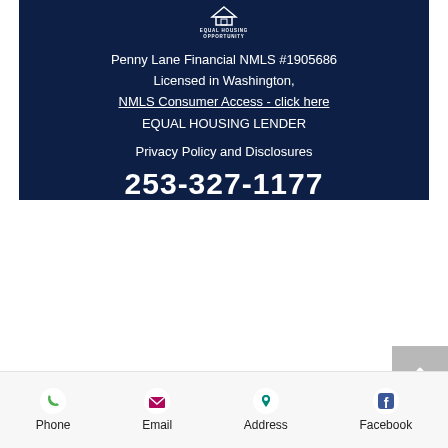[Figure (logo): Equal Housing Opportunity logo with house icon and text]
Penny Lane Financial NMLS #1905686
Licensed in Washington,
NMLS Consumer Access - click here
EQUAL HOUSING LENDER
Privacy Policy and Disclosures
253-327-1177
[Figure (infographic): Back to top button with upward chevron arrow on grey background]
Phone
Email
Address
Facebook